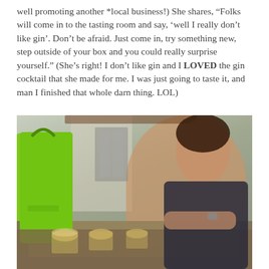well promoting another *local business!) She shares, “Folks will come in to the tasting room and say, ‘well I really don’t like gin’. Don’t be afraid. Just come in, try something new, step outside of your box and you could really surprise yourself.” (She’s right! I don’t like gin and I LOVED the gin cocktail that she made for me. I was just going to taste it, and man I finished that whole darn thing. LOL)
[Figure (photo): A woman in a black tank top sitting at a wooden table with cocktail glasses and a bright green shopping bag, in a casual indoor/outdoor venue setting.]